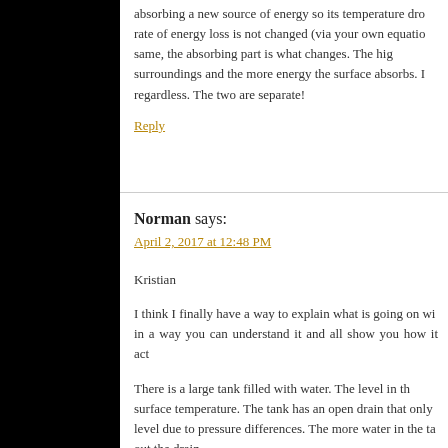absorbing a new source of energy so its temperature drops — rate of energy loss is not changed (via your own equation) it stays the same, the absorbing part is what changes. The higher the surroundings and the more energy the surface absorbs. It radiates regardless. The two are separate!
Reply
Norman says:
April 2, 2017 at 12:48 PM
Kristian
I think I finally have a way to explain what is going on wi... in a way you can understand it and all show you how it act...
There is a large tank filled with water. The level in th... surface temperature. The tank has an open drain that only level due to pressure differences. The more water in the ta... out the drain.
With...